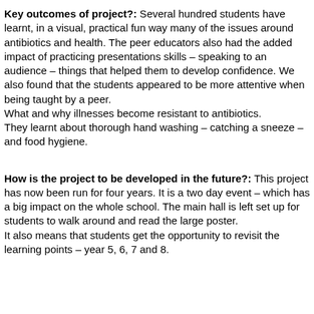Key outcomes of project?: Several hundred students have learnt, in a visual, practical fun way many of the issues around antibiotics and health. The peer educators also had the added impact of practicing presentations skills – speaking to an audience – things that helped them to develop confidence. We also found that the students appeared to be more attentive when being taught by a peer.
What and why illnesses become resistant to antibiotics.
They learnt about thorough hand washing – catching a sneeze – and food hygiene.
How is the project to be developed in the future?: This project has now been run for four years. It is a two day event – which has a big impact on the whole school. The main hall is left set up for students to walk around and read the large poster.
It also means that students get the opportunity to revisit the learning points – year 5, 6, 7 and 8.